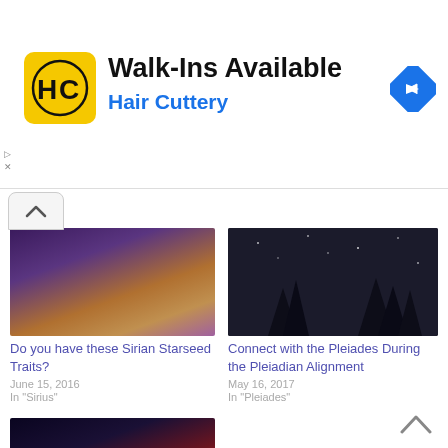[Figure (infographic): Hair Cuttery advertisement banner: yellow square logo with HC monogram, Walk-Ins Available heading, Hair Cuttery subheading, blue diamond navigation icon]
[Figure (photo): Night sky with colorful aurora-like streaks, orange and purple hues]
Do you have these Sirian Starseed Traits?
June 15, 2016
In "Sirius"
[Figure (photo): Night sky with tree silhouettes and starry sky]
Connect with the Pleiades During the Pleiadian Alignment
May 16, 2017
In "Pleiades"
[Figure (photo): Deep space nebula image with red/pink nebula clouds and stars (Horsehead Nebula region)]
Connect with Orion During the Orion Alignment
June 9, 2017
In "Orion"